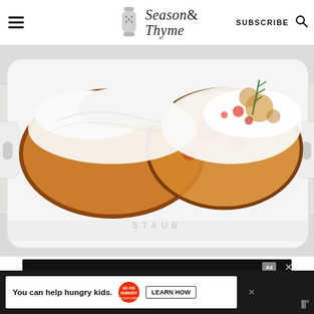Season & Thyme — SUBSCRIBE
[Figure (photo): Close-up food photo of baked bread/pizza slices topped with melted mozzarella cheese and tomato sauce in a white Staub baking dish on a white wooden surface]
[Figure (other): Advertisement banner: DON'T TEXT AND [car emoji] — NHTSA ad with yellow and cyan text on dark background]
[Figure (other): Bottom advertisement banner: You can help hungry kids. No Kid Hungry logo, LEARN HOW button]